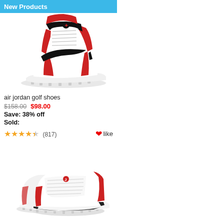New Products
[Figure (illustration): Air Jordan 1 high-top golf shoe in red, white, and black colorway with golf cleats on the sole]
air jordan golf shoes
$158.00  $98.00
Save: 38% off
Sold:
★★★★☆ (817)  ❤like
[Figure (illustration): Air Jordan 13 low-top golf shoes in white and red colorway with golf cleats on the sole, shown as a pair]